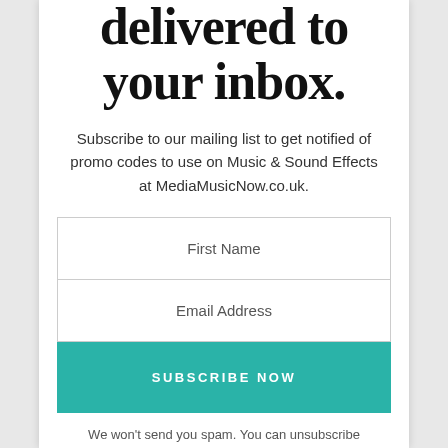delivered to your inbox.
Subscribe to our mailing list to get notified of promo codes to use on Music & Sound Effects at MediaMusicNow.co.uk.
[Figure (other): Web form with First Name and Email Address input fields and a teal SUBSCRIBE NOW button]
We won't send you spam. You can unsubscribe